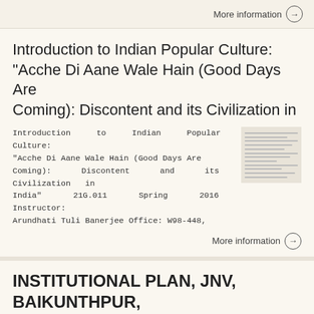More information →
Introduction to Indian Popular Culture: "Acche Di Aane Wale Hain (Good Days Are Coming): Discontent and its Civilization in
Introduction to Indian Popular Culture: "Acche Di Aane Wale Hain (Good Days Are Coming): Discontent and its Civilization in India" 21G.011 Spring 2016 Instructor: Arundhati Tuli Banerjee Office: W98-448,
[Figure (screenshot): Thumbnail image of document page with text lines]
More information →
INSTITUTIONAL PLAN, JNV, BAIKUNTHPUR, KOREA (C.G.) JAWAHAR NAVODAYA VIDYALAYA BAIKUNTHPUR DISTT: KOREA
JAWAHAR    NAVODAYA    VIDYALAYA
[Figure (screenshot): Thumbnail image of document with orange/colored cover]